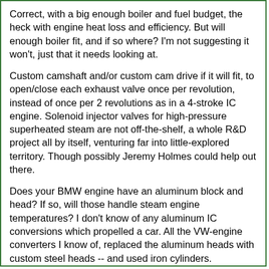Correct, with a big enough boiler and fuel budget, the heck with engine heat loss and efficiency. But will enough boiler fit, and if so where? I'm not suggesting it won't, just that it needs looking at.
Custom camshaft and/or custom cam drive if it will fit, to open/close each exhaust valve once per revolution, instead of once per 2 revolutions as in a 4-stroke IC engine. Solenoid injector valves for high-pressure superheated steam are not off-the-shelf, a whole R&D project all by itself, venturing far into little-explored territory. Though possibly Jeremy Holmes could help out there.
Does your BMW engine have an aluminum block and head? If so, will those handle steam engine temperatures? I don't know of any aluminum IC conversions which propelled a car. All the VW-engine converters I know of, replaced the aluminum heads with custom steel heads -- and used iron cylinders.
Barrett's last engine had thin titanium disks bolted onto the crowns of stock aluminum pistons, with sealed air gaps machined into pistons beneath the disks. This was to prevent crankcase splash from cooling the steamed